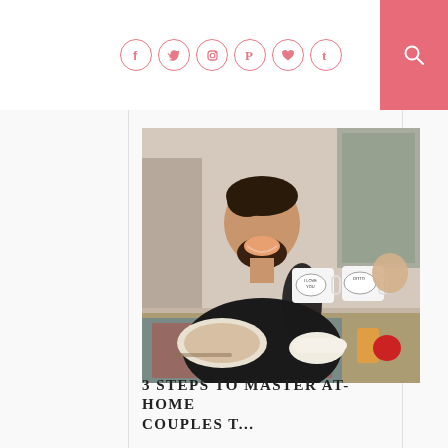Social media icons: Facebook, Twitter, Instagram, Pinterest, Heart, Tumblr; Search button
[Figure (photo): A smiling bearded man in a black t-shirt sitting at a breakfast table, holding up a white mug that reads 'I LOVE YOU'. Another hand holds a second mug reading 'DITTO'. Food and drinks are visible on the table.]
3 STEPS TO MASTER AT-HOME COUPLES T...